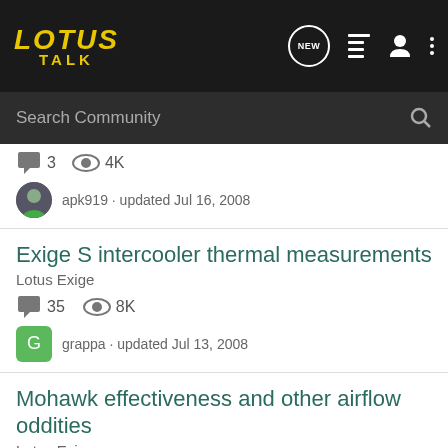LOTUS TALK
Search Community
3  4K
apk919 · updated Jul 16, 2008
Exige S intercooler thermal measurements
Lotus Exige
35  8K
grappa · updated Jul 13, 2008
Mohawk effectiveness and other airflow oddities
Lotus Exige
10  991
mlc66 · updated 7 mo ago